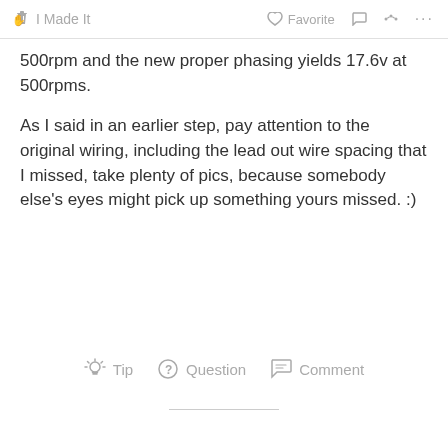I Made It   Favorite   Comment   Share   More
500rpm and the new proper phasing yields 17.6v at 500rpms.
As I said in an earlier step, pay attention to the original wiring, including the lead out wire spacing that I missed, take plenty of pics, because somebody else's eyes might pick up something yours missed. :)
Tip   Question   Comment